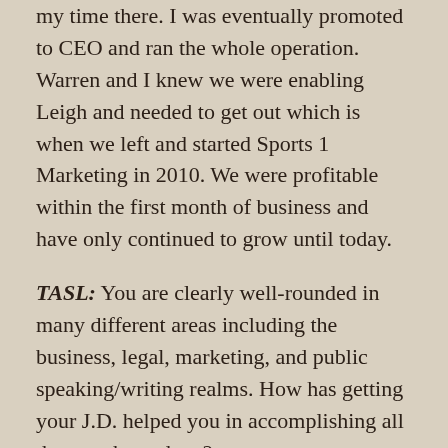my time there. I was eventually promoted to CEO and ran the whole operation. Warren and I knew we were enabling Leigh and needed to get out which is when we left and started Sports 1 Marketing in 2010. We were profitable within the first month of business and have only continued to grow until today.
TASL: You are clearly well-rounded in many different areas including the business, legal, marketing, and public speaking/writing realms. How has getting your J.D. helped you in accomplishing all that you have done?
Meltzer: Getting my J.D. forced me to hone my critical thinking skills, which are critical to success in any arena. Being able to understand and effectively communicate different frames or